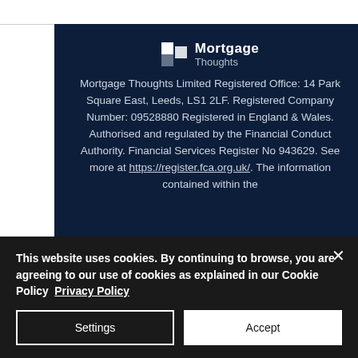[Figure (logo): Mortgage Thoughts logo: two overlapping white squares icon with 'Mortgage Thoughts' text in white/grey on dark navy background]
Mortgage Thoughts Limited Registered Office: 14 Park Square East, Leeds, LS1 2LF. Registered Company Number: 09528880 Registered in England & Wales. Authorised and regulated by the Financial Conduct Authority. Financial Services Register No 943629. See more at https://register.fca.org.uk/. The information contained within the
This website uses cookies. By continuing to browse, you are agreeing to our use of cookies as explained in our Cookie Policy  Privacy Policy